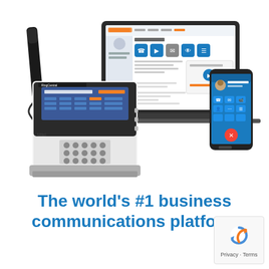[Figure (illustration): RingCentral business communications platform devices — a desk phone (Mitel/RingCentral branded), a laptop showing the RingCentral web interface, and a smartphone showing the RingCentral mobile app]
The world's #1 business communications platform
[Figure (logo): reCAPTCHA logo with Privacy and Terms links]